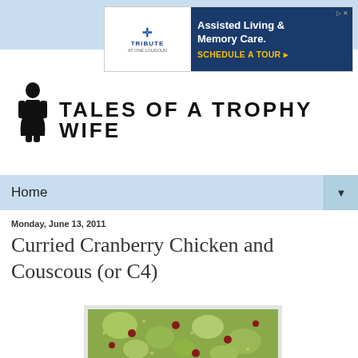[Figure (screenshot): Advertisement banner for Tribute at One Loudoun Assisted Living & Memory Care with Schedule a Tour call to action]
[Figure (logo): Tales of a Trophy Wife blog logo with female figure icon and decorative lettering]
Home ▼
Monday, June 13, 2011
Curried Cranberry Chicken and Couscous (or C4)
[Figure (photo): Photo of Curried Cranberry Chicken and Couscous dish showing couscous with green vegetables and dried cranberries]